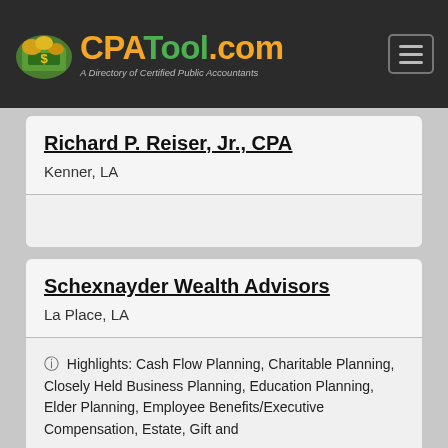CPATool.com — A Directory of Certified Public Accountants
Richard P. Reiser, Jr., CPA
Kenner, LA
Schexnayder Wealth Advisors
La Place, LA
Highlights: Cash Flow Planning, Charitable Planning, Closely Held Business Planning, Education Planning, Elder Planning, Employee Benefits/Executive Compensation, Estate, Gift and